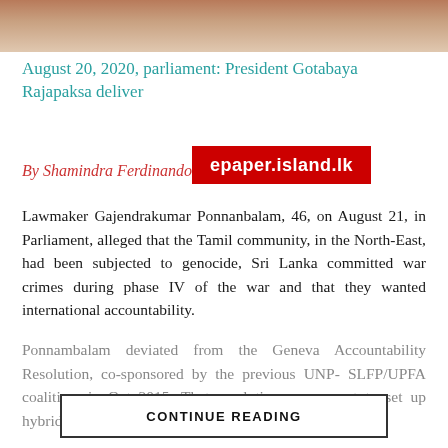[Figure (photo): Top portion of a photo showing people, partially visible at the top of the page]
August 20, 2020, parliament: President Gotabaya Rajapaksa deliver [epaper.island.lk watermark overlay]
By Shamindra Ferdinando
Lawmaker Gajendrakumar Ponnanbalam, 46, on August 21, in Parliament, alleged that the Tamil community, in the North-East, had been subjected to genocide, Sri Lanka committed war crimes during phase IV of the war and that they wanted international accountability.
Ponnambalam deviated from the Geneva Accountability Resolution, co-sponsored by the previous UNP-SLFP/UPFA coalition, in Oct 2015. That resolution was meant to set up hybrid war crimes courts, comprising local a[nd…]
CONTINUE READING